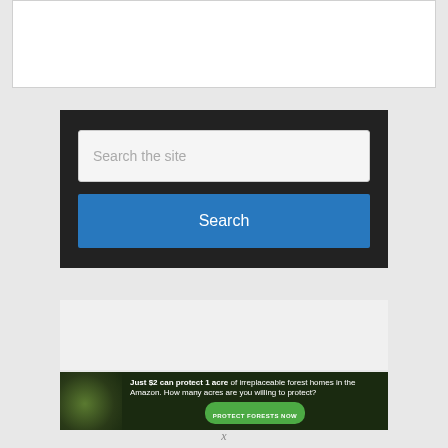[Figure (screenshot): White content box at top of page]
[Figure (screenshot): Search widget with dark background, text input field showing placeholder 'Search the site', and a blue Search button]
[Figure (screenshot): Light gray empty content box]
[Figure (screenshot): Advertisement banner: 'Just $2 can protect 1 acre of irreplaceable forest homes in the Amazon. How many acres are you willing to protect?' with a green PROTECT FORESTS NOW button and sloth imagery]
x